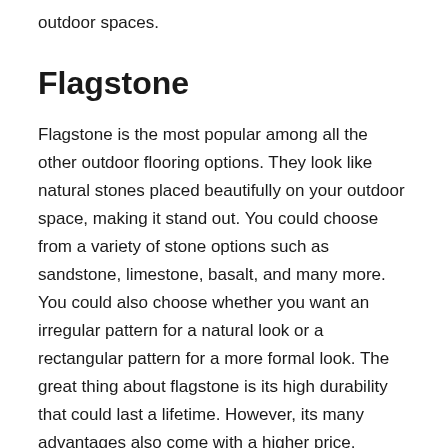outdoor spaces.
Flagstone
Flagstone is the most popular among all the other outdoor flooring options. They look like natural stones placed beautifully on your outdoor space, making it stand out. You could choose from a variety of stone options such as sandstone, limestone, basalt, and many more. You could also choose whether you want an irregular pattern for a natural look or a rectangular pattern for a more formal look. The great thing about flagstone is its high durability that could last a lifetime. However, its many advantages also come with a higher price.
Outdoor Tile